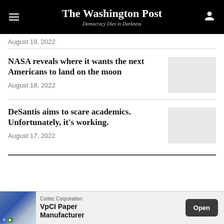The Washington Post – Democracy Dies in Darkness
August 19, 2022
NASA reveals where it wants the next Americans to land on the moon
August 18, 2022
DeSantis aims to scare academics. Unfortunately, it's working.
August 17, 2022
[Figure (other): Advertisement banner: Cortec Corporation VpCI Paper Manufacturer with Open button]